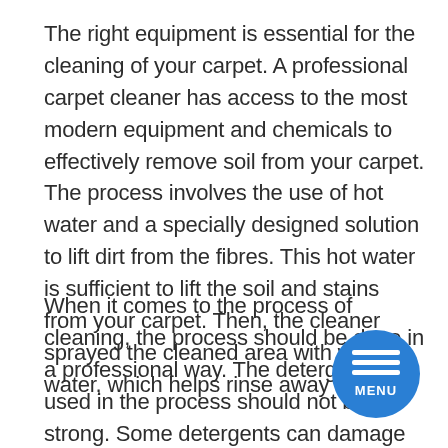The right equipment is essential for the cleaning of your carpet. A professional carpet cleaner has access to the most modern equipment and chemicals to effectively remove soil from your carpet. The process involves the use of hot water and a specially designed solution to lift dirt from the fibres. This hot water is sufficient to lift the soil and stains from your carpet. Then, the cleaner sprayed the cleaned area with warm water, which helps rinse away the dirt.
When it comes to the process of cleaning, the process should be done in a professional way. The detergents used in the process should not be too strong. Some detergents can damage the wool in your carpet, so you should ask a professional for the best solution. The right chemicals will also prevent discolouration. They must be suitable for your type of carpets. However, some chemicals can damage the wool. You should seek the advice of a professional for the best